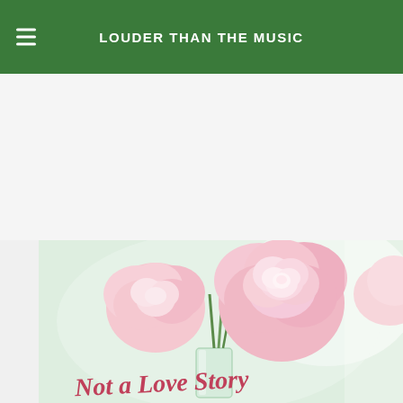LOUDER THAN THE MUSIC
[Figure (photo): Book cover showing pink peony flowers in a glass vase with cursive text 'Not a Love Story' at the bottom]